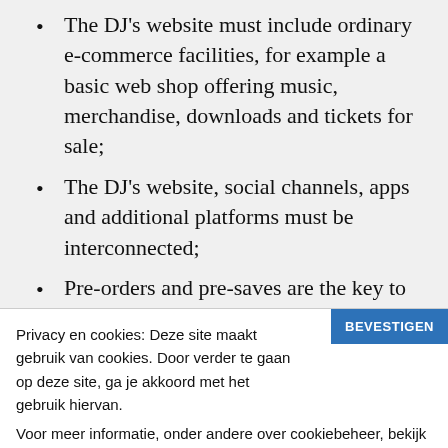The DJ's website must include ordinary e-commerce facilities, for example a basic web shop offering music, merchandise, downloads and tickets for sale;
The DJ's website, social channels, apps and additional platforms must be interconnected;
Pre-orders and pre-saves are the key to
Privacy en cookies: Deze site maakt gebruik van cookies. Door verder te gaan op deze site, ga je akkoord met het gebruik hiervan.
Voor meer informatie, onder andere over cookiebeheer, bekijk je:
Privacy beleid
Hoe kan ik helpen?